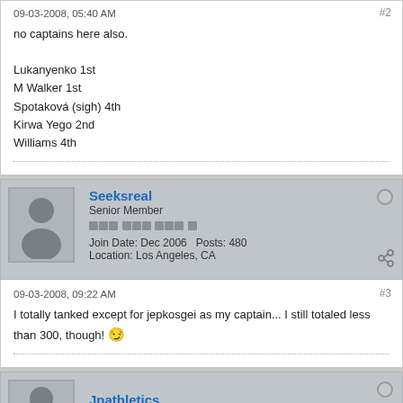09-03-2008, 05:40 AM
#2
no captains here also.

Lukanyenko 1st
M Walker 1st
Spotaková (sigh) 4th
Kirwa Yego 2nd
Williams 4th
Seeksreal
Senior Member
Join Date: Dec 2006   Posts: 480
Location: Los Angeles, CA
09-03-2008, 09:22 AM
#3
I totally tanked except for jepkosgei as my captain... I still totaled less than 300, though! 😕
Jnathletics
Senior Member